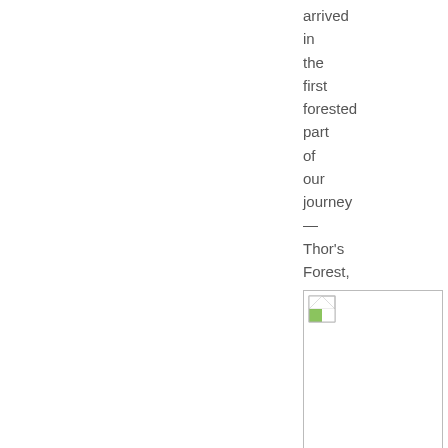arrived in the first forested part of our journey — Thor's Forest, or Thorsmork, our destination.
[Figure (photo): A partially loaded or broken image placeholder icon in the lower right area of the page.]